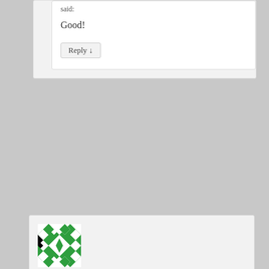said:
Good!
Reply ↓
[Figure (illustration): Green and white geometric avatar/identicon for user daisyfae]
daisyfae on January 30, 2013 at 2:02 am said:
gentrification is a tough one… in my own little town, there's a great deal of action in what was an abandoned city. and with that? more people want to live there – which feeds the art shops, and mom and pop shops. no one wants a chain drugstore – but there's a crew trying to get a basic grocery store within walking distance of the city center…. as a result of supply/demand? rents are creeping